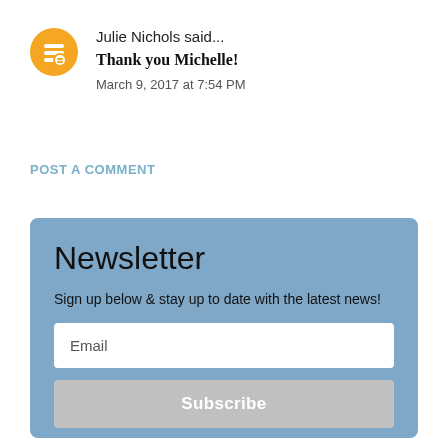[Figure (logo): Orange circular Blogger icon with white B letter]
Julie Nichols said...
Thank you Michelle!
March 9, 2017 at 7:54 PM
POST A COMMENT
Newsletter
Sign up below & stay up to date with the latest news!
Email
Subscribe